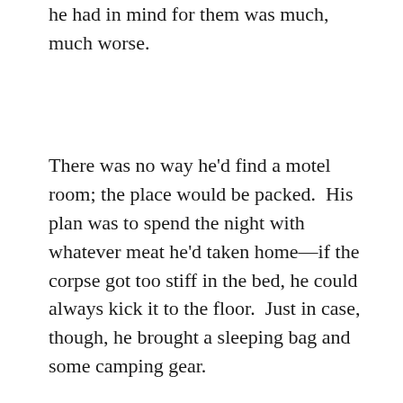he had in mind for them was much, much worse.
There was no way he'd find a motel room; the place would be packed.  His plan was to spend the night with whatever meat he'd taken home—if the corpse got too stiff in the bed, he could always kick it to the floor.  Just in case, though, he brought a sleeping bag and some camping gear.